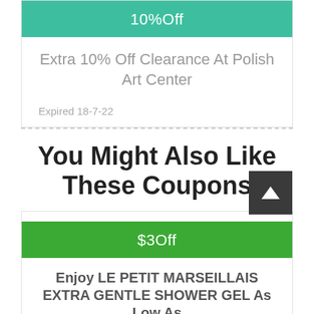[Figure (other): Coupon box with teal header showing '10%Off' and body text 'Extra 10% Off Clearance At Polish Art Center', expired 18-7-22]
You Might Also Like These Coupons
[Figure (other): Coupon box with green header showing '$3Off' and body text 'Enjoy LE PETIT MARSEILLAIS EXTRA GENTLE SHOWER GEL As Low As...']